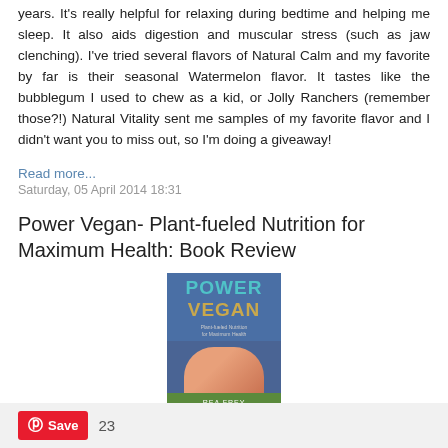years. It's really helpful for relaxing during bedtime and helping me sleep. It also aids digestion and muscular stress (such as jaw clenching). I've tried several flavors of Natural Calm and my favorite by far is their seasonal Watermelon flavor. It tastes like the bubblegum I used to chew as a kid, or Jolly Ranchers (remember those?!) Natural Vitality sent me samples of my favorite flavor and I didn't want you to miss out, so I'm doing a giveaway!
Read more...
Saturday, 05 April 2014 18:31
Power Vegan- Plant-fueled Nutrition for Maximum Health: Book Review
[Figure (photo): Book cover of 'Power Vegan' by Rea Frey showing the title in blue and gold letters with an image of arms and a green footer band.]
Save 23